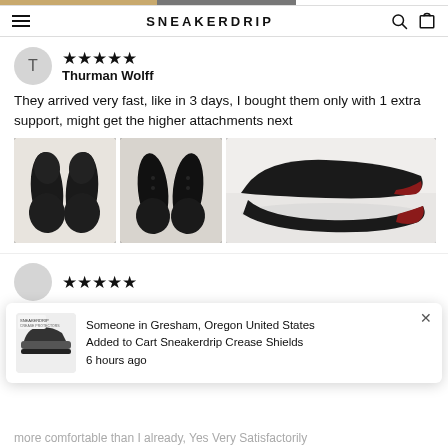SNEAKERDRIP
★★★★★
Thurman Wolff
They arrived very fast, like in 3 days, I bought them only with 1 extra support, might get the higher attachments next
[Figure (photo): Three photos of black shoe insoles/inserts on white background]
★★★★★
Someone in Gresham, Oregon United States Added to Cart Sneakerdrip Crease Shields 6 hours ago